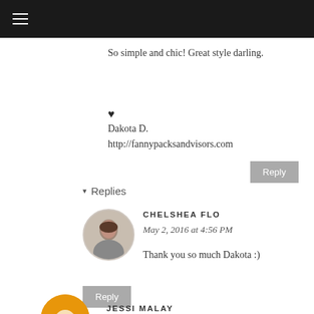So simple and chic! Great style darling.
♥
Dakota D.
http://fannypacksandvisors.com
Reply
▾ Replies
CHELSHEA FLO
May 2, 2016 at 4:56 PM
Thank you so much Dakota :)
Reply
JESSI MALAY